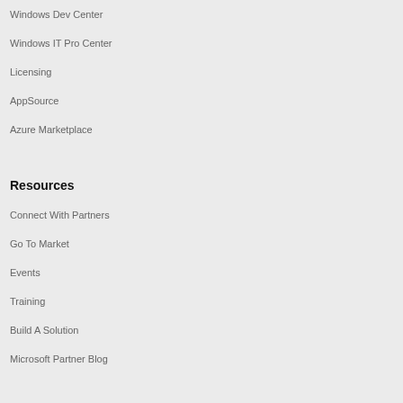Windows Dev Center
Windows IT Pro Center
Licensing
AppSource
Azure Marketplace
Resources
Connect With Partners
Go To Market
Events
Training
Build A Solution
Microsoft Partner Blog